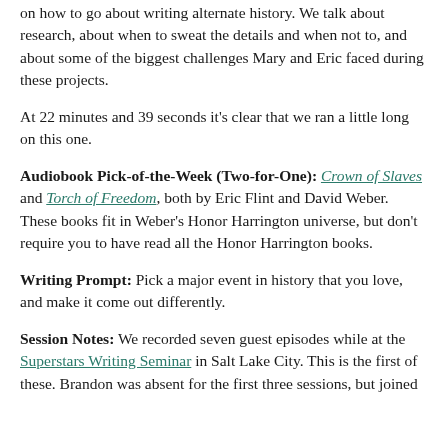on how to go about writing alternate history. We talk about research, about when to sweat the details and when not to, and about some of the biggest challenges Mary and Eric faced during these projects.
At 22 minutes and 39 seconds it's clear that we ran a little long on this one.
Audiobook Pick-of-the-Week (Two-for-One): Crown of Slaves and Torch of Freedom, both by Eric Flint and David Weber. These books fit in Weber's Honor Harrington universe, but don't require you to have read all the Honor Harrington books.
Writing Prompt: Pick a major event in history that you love, and make it come out differently.
Session Notes: We recorded seven guest episodes while at the Superstars Writing Seminar in Salt Lake City. This is the first of these. Brandon was absent for the first three sessions, but joined